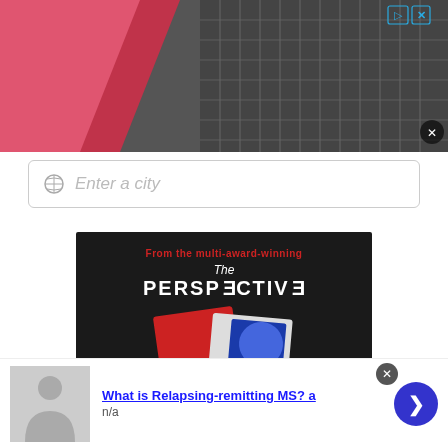[Figure (screenshot): Top advertisement banner showing a black and white building photo with a red/pink geometric accent, with adchoices and close button icons]
Enter a city
[Figure (screenshot): Book advertisement on dark background reading: From the multi-award-winning / The / PERSPECTIVE / with book cover image showing WHAT THE]
This site uses cookies and other similar technologies to provide site functionality, analyze traffic and usage, and
[Figure (screenshot): Bottom advertisement strip: image of person with hands clasped, title 'What is Relapsing-remitting MS? a', subtitle 'n/a', with blue arrow button and close button]